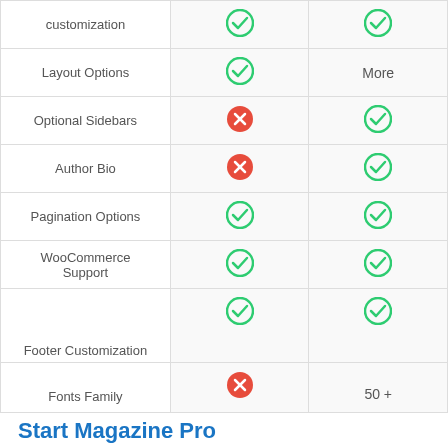| Feature | Free | Pro |
| --- | --- | --- |
| customization | ✓ | ✓ |
| Layout Options | ✓ | More |
| Optional Sidebars | ✗ | ✓ |
| Author Bio | ✗ | ✓ |
| Pagination Options | ✓ | ✓ |
| WooCommerce Support | ✓ | ✓ |
| Footer Customization | ✓ | ✓ |
| Fonts Family | ✗ | 50 + |
Start Magazine Pro